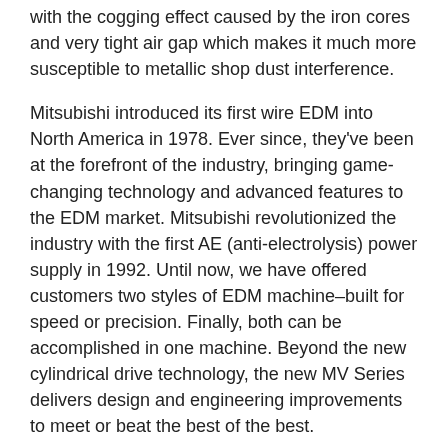with the cogging effect caused by the iron cores and very tight air gap which makes it much more susceptible to metallic shop dust interference.
Mitsubishi introduced its first wire EDM into North America in 1978. Ever since, they've been at the forefront of the industry, bringing game-changing technology and advanced features to the EDM market. Mitsubishi revolutionized the industry with the first AE (anti-electrolysis) power supply in 1992. Until now, we have offered customers two styles of EDM machine–built for speed or precision. Finally, both can be accomplished in one machine. Beyond the new cylindrical drive technology, the new MV Series delivers design and engineering improvements to meet or beat the best of the best.
Other Advantages of Cylindrical Drive Motor:
LSM (Linear Shaft Motor) is a non-contact